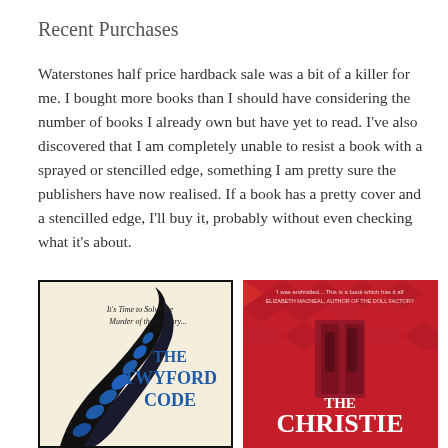Recent Purchases
Waterstones half price hardback sale was a bit of a killer for me. I bought more books than I should have considering the number of books I already own but have yet to read. I've also discovered that I am completely unable to resist a book with a sprayed or stencilled edge, something I am pretty sure the publishers have now realised. If a book has a pretty cover and a stencilled edge, I'll buy it, probably without even checking what it's about.
[Figure (photo): Book cover of The Twyford Code - cream background with black and blue decorative wing/feather design, text 'It's Time to Solve the Murder of the Century...' and title THE TWYFORD CODE in blue letters]
[Figure (photo): Book cover of The Christie - red background with harlequin diamond pattern, showing silhouetted figures, title THE CHRISTIE in white letters, quote at top from Elizabeth Macneal]